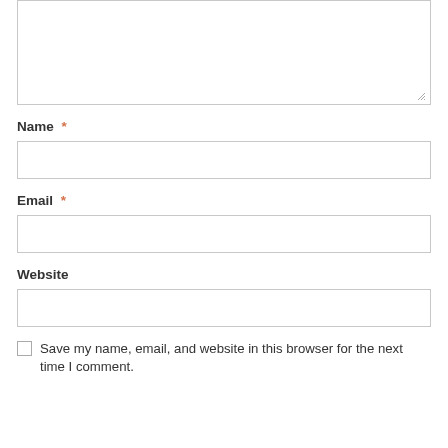[Figure (other): Comment textarea input box (empty, with resize handle in bottom-right corner)]
Name *
[Figure (other): Name text input field (empty)]
Email *
[Figure (other): Email text input field (empty)]
Website
[Figure (other): Website text input field (empty)]
Save my name, email, and website in this browser for the next time I comment.